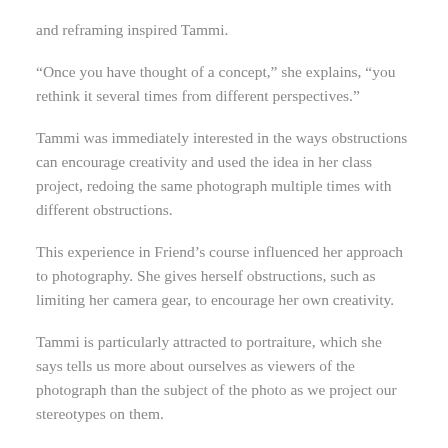and reframing inspired Tammi.
“Once you have thought of a concept,” she explains, “you rethink it several times from different perspectives.”
Tammi was immediately interested in the ways obstructions can encourage creativity and used the idea in her class project, redoing the same photograph multiple times with different obstructions.
This experience in Friend’s course influenced her approach to photography. She gives herself obstructions, such as limiting her camera gear, to encourage her own creativity.
Tammi is particularly attracted to portraiture, which she says tells us more about ourselves as viewers of the photograph than the subject of the photo as we project our stereotypes on them.
One of Them is a Human #1 has attracted a lot of attention in